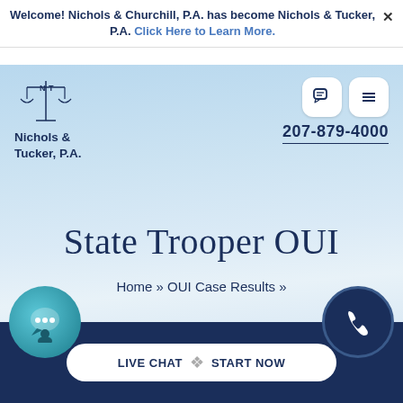Welcome! Nichols & Churchill, P.A. has become Nichols & Tucker, P.A. Click Here to Learn More.
[Figure (logo): Nichols & Tucker P.A. scales of justice logo with N and T letters]
Nichols & Tucker, P.A.
[Figure (screenshot): Chat and menu icon buttons (rounded square white buttons)]
207-879-4000
State Trooper OUI
Home » OUI Case Results »
[Figure (infographic): Bottom bar with live chat bubble icon, LIVE CHAT | START NOW button, and phone circle icon]